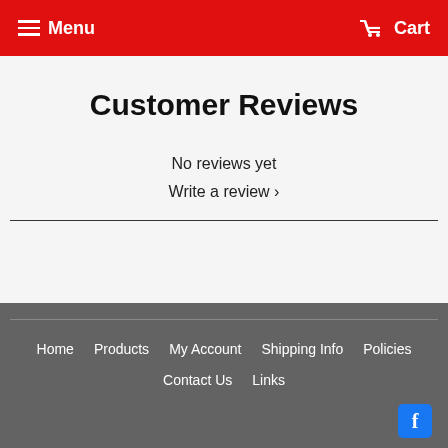Menu  Cart
Customer Reviews
No reviews yet
Write a review ›
Home  Products  My Account  Shipping Info  Policies  Contact Us  Links